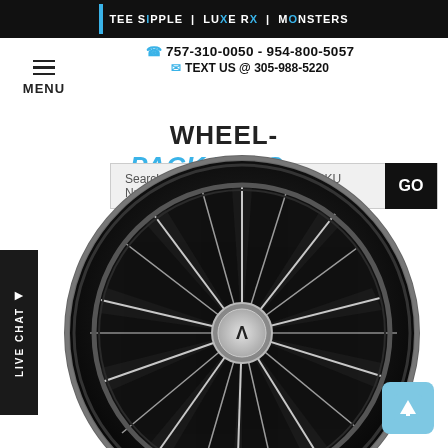TEE SIPPLE | LUXE RX | MONSTERS
757-310-0050 - 954-800-5057
TEXT US @ 305-988-5220
MENU
WHEEL-PACKAGES.com
Search By Brand, Product Name or SKU Number
LIVE CHAT
[Figure (photo): Black and machined spoke alloy wheel/rim on white background, brand logo visible at center hub]
GO